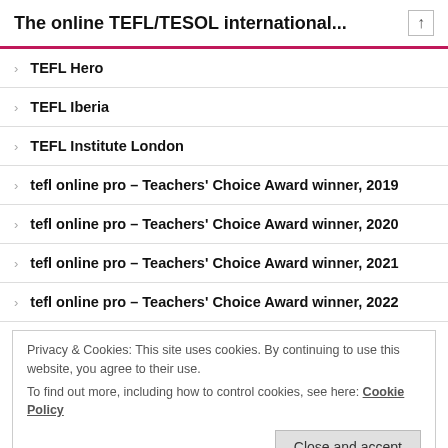The online TEFL/TESOL international...
TEFL Hero
TEFL Iberia
TEFL Institute London
tefl online pro – Teachers' Choice Award winner, 2019
tefl online pro – Teachers' Choice Award winner, 2020
tefl online pro – Teachers' Choice Award winner, 2021
tefl online pro – Teachers' Choice Award winner, 2022
Privacy & Cookies: This site uses cookies. By continuing to use this website, you agree to their use. To find out more, including how to control cookies, see here: Cookie Policy
TEFL UK